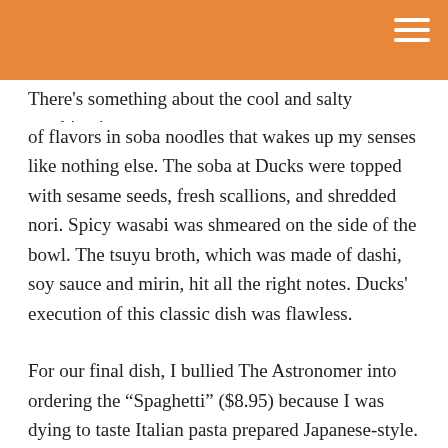There's something about the cool and salty combination of flavors in soba noodles that wakes up my senses like nothing else. The soba at Ducks were topped with sesame seeds, fresh scallions, and shredded nori. Spicy wasabi was shmeared on the side of the bowl. The tsuyu broth, which was made of dashi, soy sauce and mirin, hit all the right notes. Ducks' execution of this classic dish was flawless.
For our final dish, I bullied The Astronomer into ordering the “Spaghetti” ($8.95) because I was dying to taste Italian pasta prepared Japanese-style. The dish turned out to be delicious and not nearly as strange as I had expected. The noodles were served in a spicy curry broth reminiscent of Vietnamese beef stew (bo kho) that